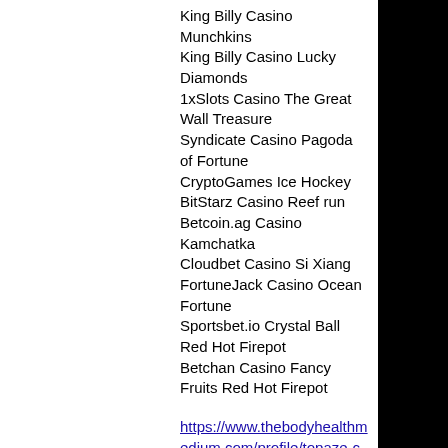King Billy Casino Munchkins
King Billy Casino Lucky Diamonds
1xSlots Casino The Great Wall Treasure
Syndicate Casino Pagoda of Fortune
CryptoGames Ice Hockey
BitStarz Casino Reef run
Betcoin.ag Casino Kamchatka
Cloudbet Casino Si Xiang
FortuneJack Casino Ocean Fortune
Sportsbet.io Crystal Ball Red Hot Firepot
Betchan Casino Fancy Fruits Red Hot Firepot
https://www.thebodyhealthmedium.com/profile/topaze-casino-instant-play-how-to-play-blackjack-online-game-3547/profile
https://www.selfmoneycare.com/profile/royal-reels-slots-online-3703/profile
https://www.keyscreativestudio.com/profile/ethereum-casino-games-777-jacpot-slots-facebook-page-331/profile
https://nl.draadbonk.com/profile/play2win